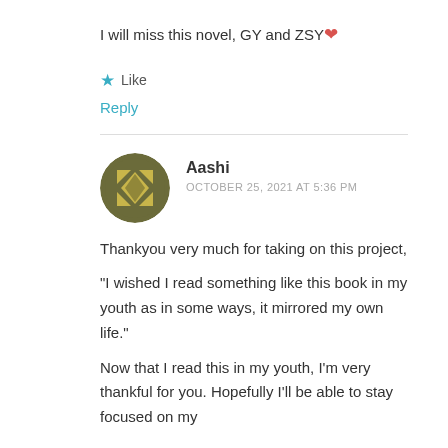I will miss this novel, GY and ZSY❤
★ Like
Reply
Aashi
OCTOBER 25, 2021 AT 5:36 PM
Thankyou very much for taking on this project,
"I wished I read something like this book in my youth as in some ways, it mirrored my own life."
Now that I read this in my youth, I'm very thankful for you. Hopefully I'll be able to stay focused on my